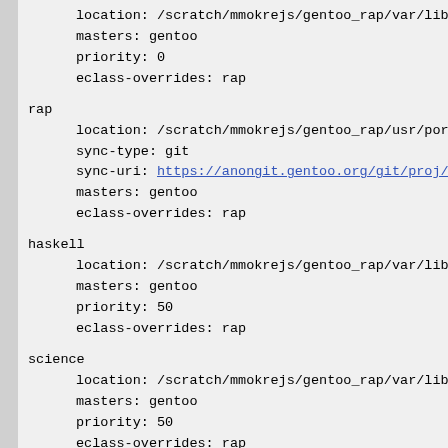location: /scratch/mmokrejs/gentoo_rap/var/lib/l
    masters: gentoo
    priority: 0
    eclass-overrides: rap
rap
    location: /scratch/mmokrejs/gentoo_rap/usr/porta
    sync-type: git
    sync-uri: https://anongit.gentoo.org/git/proj/an
    masters: gentoo
    eclass-overrides: rap
haskell
    location: /scratch/mmokrejs/gentoo_rap/var/lib/la
    masters: gentoo
    priority: 50
    eclass-overrides: rap
science
    location: /scratch/mmokrejs/gentoo_rap/var/lib/la
    masters: gentoo
    priority: 50
    eclass-overrides: rap
ACCEPT_KEYWORDS="amd64 ~amd64 ~amd64-linux"
ACCEPT_LICENSE="* -@EULA"
CBUILD="x86_64-pc-linux-gnu"
CFLAGS="-O2 -pipe -O2 -pipe -march=native"
CHOST="x86_64-pc-linux-gnu"
CONFIG_PROTECT="/etc /usr/share/gnupg/qualified.txt"